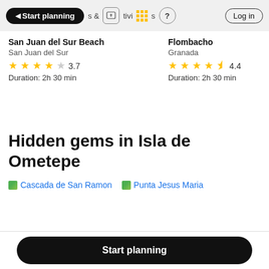Start planning | & activities | ? | Log in
San Juan del Sur Beach — San Juan del Sur — Rating: 3.7 — Duration: 2h 30 min
Flombacho — Granada — Rating: 4.4 — Duration: 2h 30 min
Hidden gems in Isla de Ometepe
Cascada de San Ramon
Punta Jesus Maria
Start planning